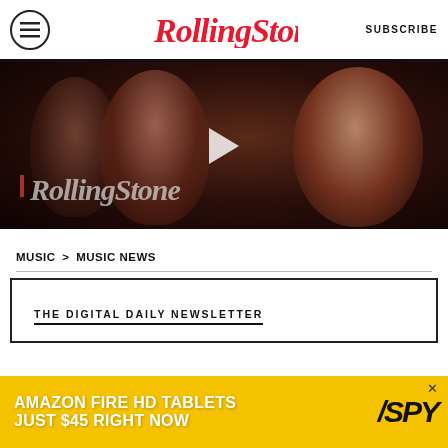Rolling Stone - SUBSCRIBE
[Figure (screenshot): Rolling Stone website video thumbnail showing two people close together in dark lighting, with Rolling Stone watermark logo in italic red/grey script, and a play button overlay]
MUSIC > MUSIC NEWS
THE DIGITAL DAILY NEWSLETTER
[Figure (photo): Amazon Fire HD Tablets advertisement banner with yellow background: 'AMAZON FIRE HD TABLETS JUST $45 RIGHT NOW' with SPY logo]